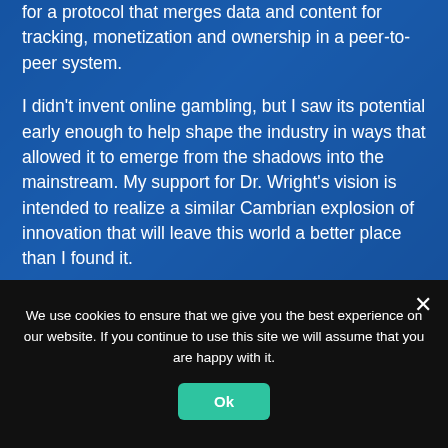for a protocol that merges data and content for tracking, monetization and ownership in a peer-to-peer system.
I didn't invent online gambling, but I saw its potential early enough to help shape the industry in ways that allowed it to emerge from the shadows into the mainstream. My support for Dr. Wright's vision is intended to realize a similar Cambrian explosion of innovation that will leave this world a better place than I found it.
My primary focus may have changed, but
We use cookies to ensure that we give you the best experience on our website. If you continue to use this site we will assume that you are happy with it.